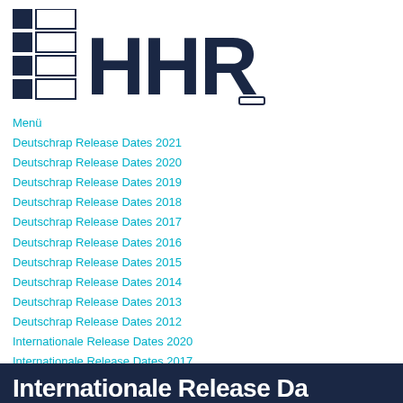[Figure (logo): HHR logo with grid of squares on the left and bold HHR text]
Menü
Deutschrap Release Dates 2021
Deutschrap Release Dates 2020
Deutschrap Release Dates 2019
Deutschrap Release Dates 2018
Deutschrap Release Dates 2017
Deutschrap Release Dates 2016
Deutschrap Release Dates 2015
Deutschrap Release Dates 2014
Deutschrap Release Dates 2013
Deutschrap Release Dates 2012
Internationale Release Dates 2020
Internationale Release Dates 2017
Internationale Release Dates 2016
Internationale Release Dates 2015
Internationale Release Dates 2014
Internationale Release Dates 2013
Internationale Release Da…